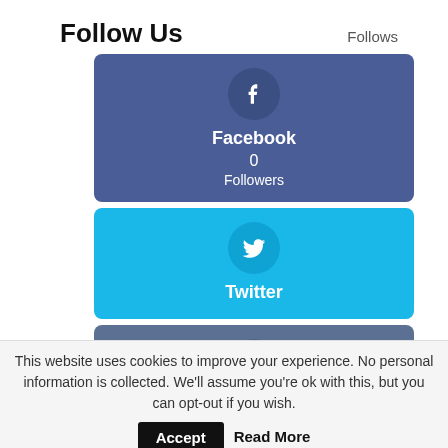Follow Us
Follows
[Figure (infographic): Facebook social media follow card with Facebook 'f' icon in a circle, text 'Facebook', '0', 'Followers' on a blue-grey background]
[Figure (infographic): Twitter social media follow card with Twitter bird icon in a circle, text 'Twitter' on a cyan/light blue background]
[Figure (infographic): Instagram social media follow card with Instagram camera icon in a circle on a grey-blue background]
This website uses cookies to improve your experience. No personal information is collected. We'll assume you're ok with this, but you can opt-out if you wish.
Accept
Read More